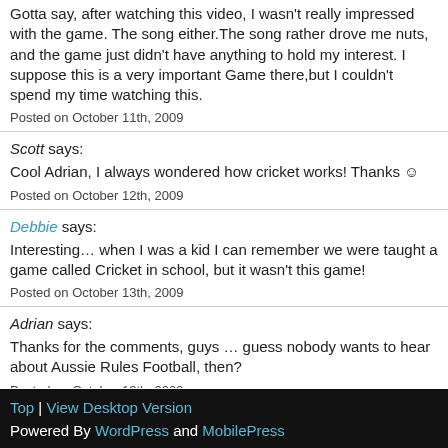Gotta say, after watching this video, I wasn't really impressed with the game. The song either.The song rather drove me nuts, and the game just didn't have anything to hold my interest. I suppose this is a very important Game there,but I couldn't spend my time watching this.
Posted on October 11th, 2009
Scott says:
Cool Adrian, I always wondered how cricket works! Thanks ☺
Posted on October 12th, 2009
Debbie says:
Interesting… when I was a kid I can remember we were taught a game called Cricket in school, but it wasn't this game!
Posted on October 13th, 2009
Adrian says:
Thanks for the comments, guys … guess nobody wants to hear about Aussie Rules Football, then?
Posted on October 13th, 2009
Search
Top | View Desktop Version
Powered By WordPress and MobilePress